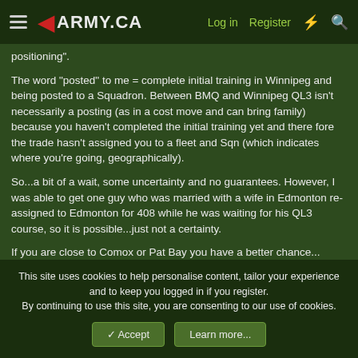ARMY.CA — Log in | Register
positioning".
The word "posted" to me = complete initial training in Winnipeg and being posted to a Squadron. Between BMQ and Winnipeg QL3 isn't necessarily a posting (as in a cost move and can bring family) because you haven't completed the initial training yet and there fore the trade hasn't assigned you to a fleet and Sqn (which indicates where you're going, geographically).
So...a bit of a wait, some uncertainty and no guarantees. However, I was able to get one guy who was married with a wife in Edmonton re-assigned to Edmonton for 408 while he was waiting for his QL3 course, so it is possible...just not a certainty.
If you are close to Comox or Pat Bay you have a better chance...
This site uses cookies to help personalise content, tailor your experience and to keep you logged in if you register.
By continuing to use this site, you are consenting to our use of cookies.